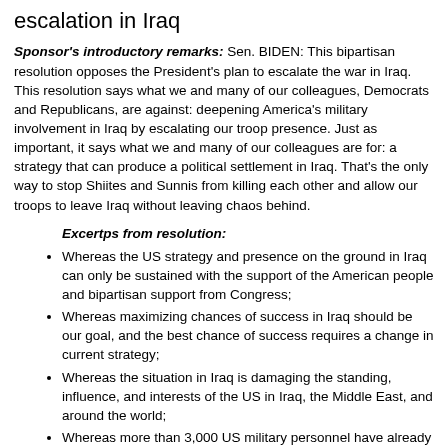escalation in Iraq
Sponsor's introductory remarks: Sen. BIDEN: This bipartisan resolution opposes the President's plan to escalate the war in Iraq. This resolution says what we and many of our colleagues, Democrats and Republicans, are against: deepening America's military involvement in Iraq by escalating our troop presence. Just as important, it says what we and many of our colleagues are for: a strategy that can produce a political settlement in Iraq. That's the only way to stop Shiites and Sunnis from killing each other and allow our troops to leave Iraq without leaving chaos behind.
Excertps from resolution:
Whereas the US strategy and presence on the ground in Iraq can only be sustained with the support of the American people and bipartisan support from Congress;
Whereas maximizing chances of success in Iraq should be our goal, and the best chance of success requires a change in current strategy;
Whereas the situation in Iraq is damaging the standing, influence, and interests of the US in Iraq, the Middle East, and around the world;
Whereas more than 3,000 US military personnel have already lost their lives in Iraq, and more than 22,500 have been wounded in Iraq;
Whereas on January 10, 2007, Pres. Bush announced his plan to deepen the US military involvement in Iraq by deploying approximately 21,000 additional US combat forces to Iraq;
Whereas an open-ended commitment of US forces in Iraq is unsustainable and a deterrent to the Iraqis making the political compromises that are needed for violence to end and for stability and security to be achieved in Iraq;
Resolved: That it is the sense of Congress that it is not in the national interest of the US to deepen its military involvement in Iraq, particularly by escalating the US military force presence in Iraq;
the United States should engage nations in the Middle East to develop a